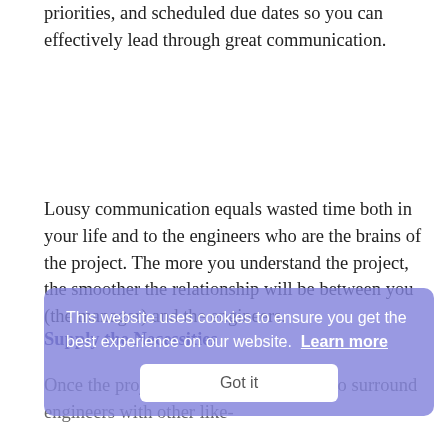priorities, and scheduled due dates so you can effectively lead through great communication.
Lousy communication equals wasted time both in your life and to the engineers who are the brains of the project. The more you understand the project, the smoother the relationship will be between you (the manager) and the engineers.
Supply the Necessities
Once the project is clear, it is essential to surround engineers with other like-
This website uses cookies to ensure you get the best experience on our website. Learn more
Got it